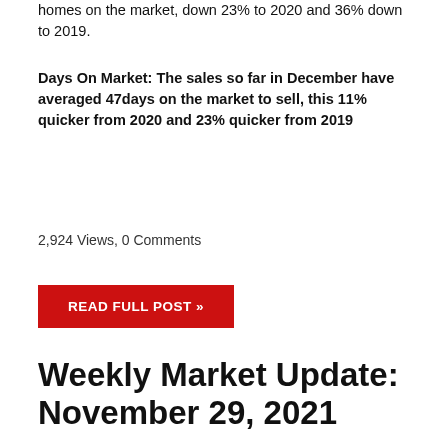homes on the market, down 23% to 2020 and 36% down to 2019.
Days On Market: The sales so far in December have averaged 47days on the market to sell, this 11% quicker from 2020 and 23% quicker from 2019
2,924 Views, 0 Comments
READ FULL POST »
Weekly Market Update: November 29, 2021